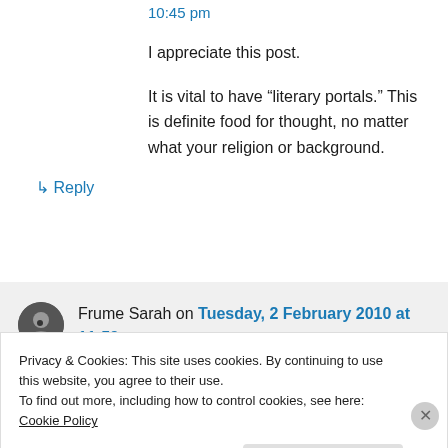10:45 pm
I appreciate this post.
It is vital to have “literary portals.” This is definite food for thought, no matter what your religion or background.
↳ Reply
Frume Sarah on Tuesday, 2 February 2010 at 11:59 am
Privacy & Cookies: This site uses cookies. By continuing to use this website, you agree to their use.
To find out more, including how to control cookies, see here: Cookie Policy
Close and accept